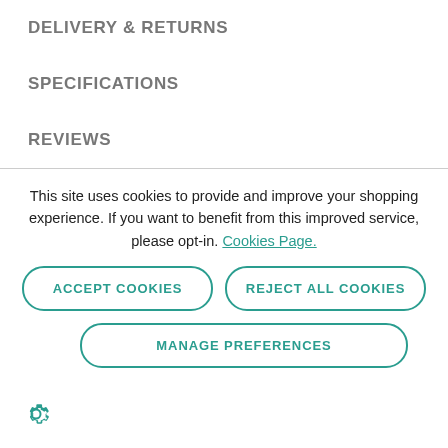DELIVERY & RETURNS
SPECIFICATIONS
REVIEWS
This site uses cookies to provide and improve your shopping experience. If you want to benefit from this improved service, please opt-in. Cookies Page.
ACCEPT COOKIES
REJECT ALL COOKIES
MANAGE PREFERENCES